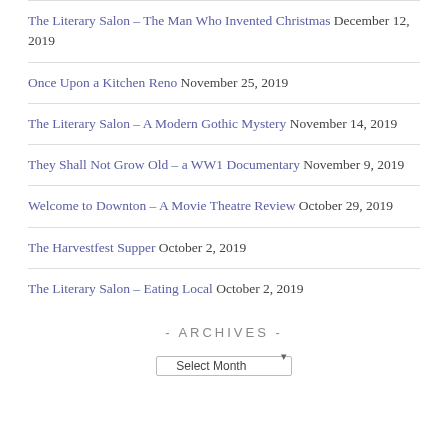The Literary Salon – The Man Who Invented Christmas December 12, 2019
Once Upon a Kitchen Reno November 25, 2019
The Literary Salon – A Modern Gothic Mystery November 14, 2019
They Shall Not Grow Old – a WW1 Documentary November 9, 2019
Welcome to Downton – A Movie Theatre Review October 29, 2019
The Harvestfest Supper October 2, 2019
The Literary Salon – Eating Local October 2, 2019
- ARCHIVES -